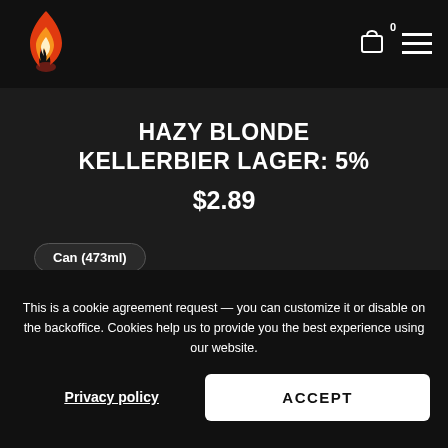Header with flame logo, cart icon (0), and hamburger menu
HAZY BLONDE KELLERBIER LAGER: 5%
$2.89
Can (473ml)
This is a cookie agreement request — you can customize it or disable on the backoffice. Cookies help us to provide you the best experience using our website.
Privacy policy
ACCEPT